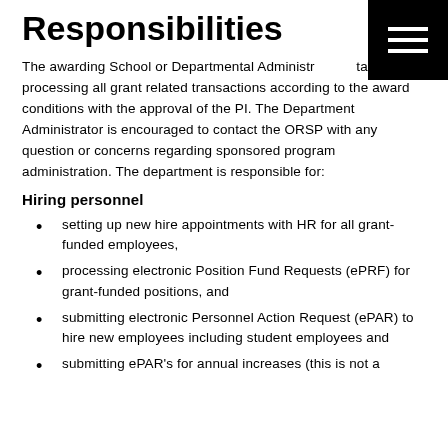Responsibilities
The awarding School or Departmental Administrator is tasked with processing all grant related transactions according to the award conditions with the approval of the PI. The Department Administrator is encouraged to contact the ORSP with any question or concerns regarding sponsored program administration. The department is responsible for:
Hiring personnel
setting up new hire appointments with HR for all grant-funded employees,
processing electronic Position Fund Requests (ePRF) for grant-funded positions, and
submitting electronic Personnel Action Request (ePAR) to hire new employees including student employees and
submitting ePAR's for annual increases (this is not a